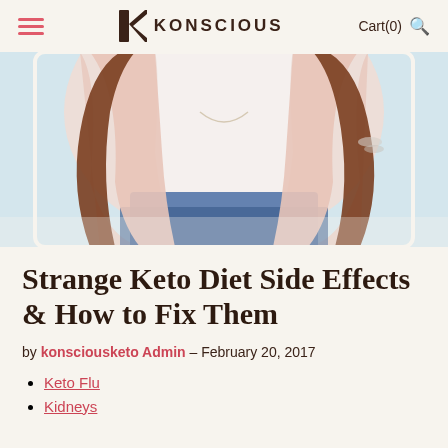KONSCIOUS   Cart(0)
[Figure (photo): A young woman with long brown hair wearing a pink cardigan over a white textured top and blue denim skirt, photographed from the torso down.]
Strange Keto Diet Side Effects & How to Fix Them
by konsciousketo Admin – February 20, 2017
Keto Flu
Kidneys